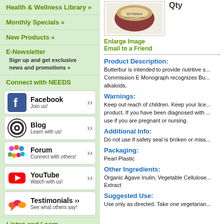Health & Wellness Library »
Monthly Specials »
New Products »
E-Newsletter
Sign up and get exclusive news and promotions »
Connect with NEEDS
[Figure (screenshot): Facebook social button with 'Join us!' subtitle and arrow]
[Figure (screenshot): Blog (WordPress) social button with 'Learn with us!' subtitle and arrow]
[Figure (screenshot): Forum social button with 'Connect with others!' subtitle and arrow]
[Figure (screenshot): YouTube social button with 'Watch with us!' subtitle and arrow]
[Figure (screenshot): Testimonials social button with 'See what others say!' subtitle and arrow]
Listen and Learn
[Figure (photo): Product image of Butterbur supplement container]
Qty
Enlarge Image
Email to a Friend
Product Description:
Butterbur is intended to provide nutritive s... Commission E Monograph recognizes Bu... alkaloids.
Warnings:
Keep out reach of children. Keep your lice... product. If you have been diagnosed with ... use if you are pregnant or nursing.
Additional Info:
Do not use if safety seal is broken or miss...
Packaging:
Pearl Plastic
Other Ingredients:
Organic Agave Inulin, Vegetable Cellulose... Extract
Suggested Use:
Use only as directed. Take one vegetarian...